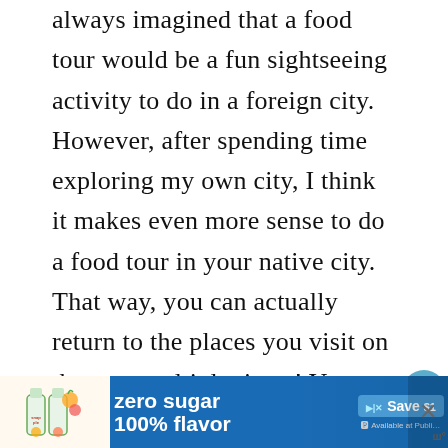always imagined that a food tour would be a fun sightseeing activity to do in a foreign city.  However, after spending time exploring my own city, I think it makes even more sense to do a food tour in your native city.  That way, you can actually return to the places you visit on the tour multiple times! You can book the tour directly on their website and they currently do tours Thursday-Sunday in Downtown LA.  Here are the four restaurants that I went to on the tour.  All of them were truly spectacul…
[Figure (screenshot): Advertisement banner for Snapple zero sugar 100% flavor with Save $1 button and Available at Publix text]